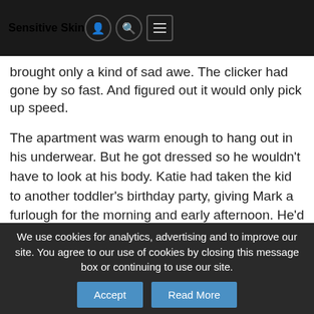Sensitive Skin
brought only a kind of sad awe. The clicker had gone by so fast. And figured out it would only pick up speed.
The apartment was warm enough to hang out in his underwear. But he got dressed so he wouldn't have to look at his body. Katie had taken the kid to another toddler's birthday party, giving Mark a furlough for the morning and early afternoon. He'd been looking forward to the break, but now that it was here it didn't feel like a long one. Anxiety fizzled along his nerves as he tried to decide whether he would watch a movie (and, if so, which movie) or read a book (and, if so, which book). The birthday
We use cookies for analytics, advertising and to improve our site. You agree to our use of cookies by closing this message box or continuing to use our site.